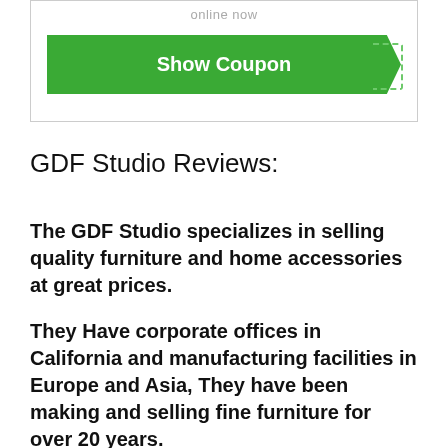[Figure (other): A green 'Show Coupon' button inside a bordered coupon box with 'online now' text at top and dashed border accent on right side of button]
GDF Studio Reviews:
The GDF Studio specializes in selling quality furniture and home accessories at great prices.
They Have corporate offices in California and manufacturing facilities in Europe and Asia, They have been making and selling fine furniture for over 20 years.